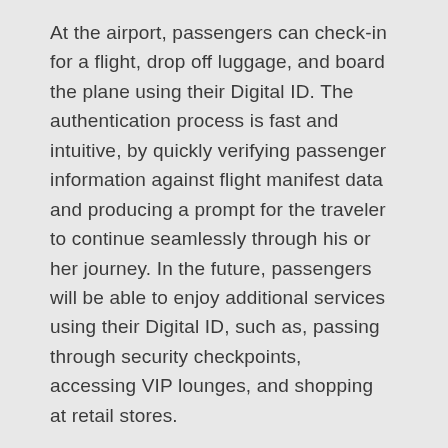At the airport, passengers can check-in for a flight, drop off luggage, and board the plane using their Digital ID. The authentication process is fast and intuitive, by quickly verifying passenger information against flight manifest data and producing a prompt for the traveler to continue seamlessly through his or her journey. In the future, passengers will be able to enjoy additional services using their Digital ID, such as, passing through security checkpoints, accessing VIP lounges, and shopping at retail stores.
What is NEC I:Delight?